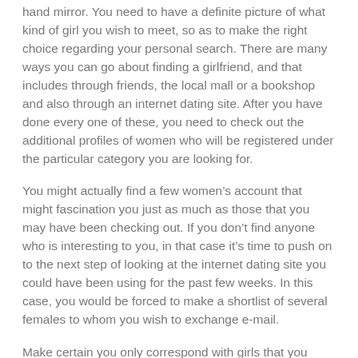hand mirror. You need to have a definite picture of what kind of girl you wish to meet, so as to make the right choice regarding your personal search. There are many ways you can go about finding a girlfriend, and that includes through friends, the local mall or a bookshop and also through an internet dating site. After you have done every one of these, you need to check out the additional profiles of women who will be registered under the particular category you are looking for.
You might actually find a few women’s account that might fascination you just as much as those that you may have been checking out. If you don’t find anyone who is interesting to you, in that case it’s time to push on to the next step of looking at the internet dating site you could have been using for the past few weeks. In this case, you would be forced to make a shortlist of several females to whom you wish to exchange e-mail.
Make certain you only correspond with girls that you know about or understand their address and also